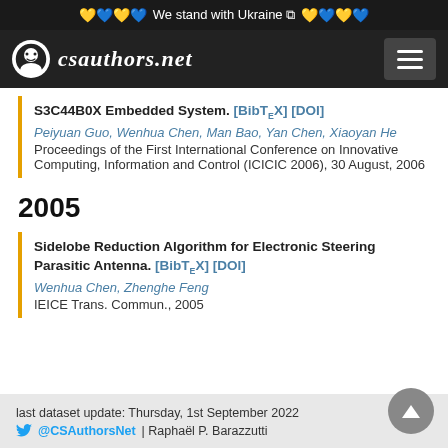We stand with Ukraine 🔗
csauthors.net
S3C44B0X Embedded System. [BibTeX] [DOI]
Peiyuan Guo, Wenhua Chen, Man Bao, Yan Chen, Xiaoyan He
Proceedings of the First International Conference on Innovative Computing, Information and Control (ICICIC 2006), 30 August, 2006
2005
Sidelobe Reduction Algorithm for Electronic Steering Parasitic Antenna. [BibTeX] [DOI]
Wenhua Chen, Zhenghe Feng
IEICE Trans. Commun., 2005
last dataset update: Thursday, 1st September 2022
@CSAuthorsNet | Raphaël P. Barazzutti